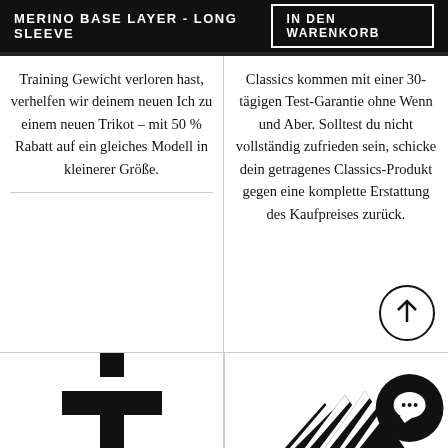MERINO BASE LAYER - LONG SLEEVE
Training Gewicht verloren hast, verhelfen wir deinem neuen Ich zu einem neuen Trikot – mit 50 % Rabatt auf ein gleiches Modell in kleinerer Größe.
Classics kommen mit einer 30-tägigen Test-Garantie ohne Wenn und Aber. Solltest du nicht vollständig zufrieden sein, schicke dein getragenes Classics-Produkt gegen eine komplette Erstattung des Kaufpreises zurück.
[Figure (illustration): Black plus/cross icon at bottom left]
[Figure (illustration): Striped arrow pattern and circular chat icon at bottom right]